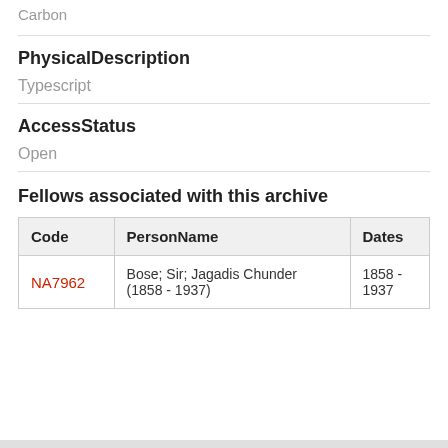Carbon
PhysicalDescription
Typescript
AccessStatus
Open
Fellows associated with this archive
| Code | PersonName | Dates |
| --- | --- | --- |
| NA7962 | Bose; Sir; Jagadis Chunder (1858 - 1937) | 1858 - 1937 |